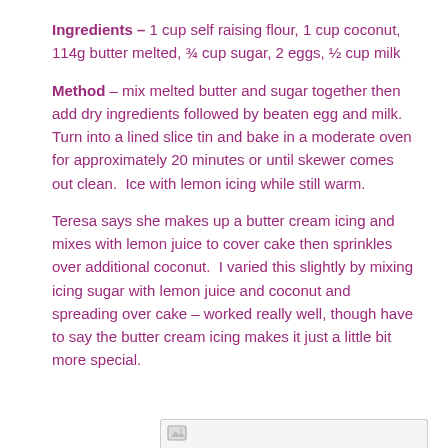Ingredients – 1 cup self raising flour, 1 cup coconut, 114g butter melted, ¾ cup sugar, 2 eggs, ½ cup milk
Method – mix melted butter and sugar together then add dry ingredients followed by beaten egg and milk.  Turn into a lined slice tin and bake in a moderate oven for approximately 20 minutes or until skewer comes out clean.  Ice with lemon icing while still warm.
Teresa says she makes up a butter cream icing and mixes with lemon juice to cover cake then sprinkles over additional coconut.  I varied this slightly by mixing icing sugar with lemon juice and coconut and spreading over cake – worked really well, though have to say the butter cream icing makes it just a little bit more special.
[Figure (other): Partial image or thumbnail at bottom of page, partially cut off]